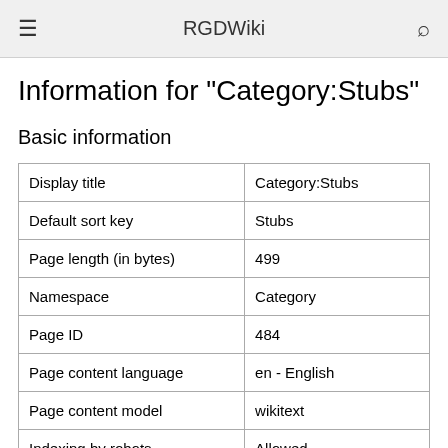RGDWiki
Information for "Category:Stubs"
Basic information
| Display title | Category:Stubs |
| Default sort key | Stubs |
| Page length (in bytes) | 499 |
| Namespace | Category |
| Page ID | 484 |
| Page content language | en - English |
| Page content model | wikitext |
| Indexing by robots | Allowed |